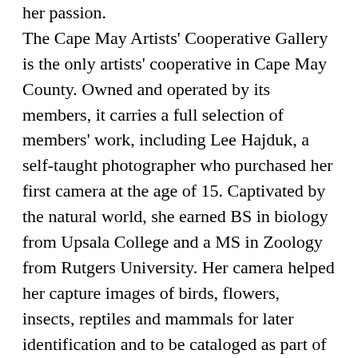her passion. The Cape May Artists' Cooperative Gallery is the only artists' cooperative in Cape May County. Owned and operated by its members, it carries a full selection of members' work, including Lee Hajduk, a self-taught photographer who purchased her first camera at the age of 15. Captivated by the natural world, she earned BS in biology from Upsala College and a MS in Zoology from Rutgers University. Her camera helped her capture images of birds, flowers, insects, reptiles and mammals for later identification and to be cataloged as part of her curriculum. From there, her passion grew into composing and capturing the beauty of wildlife and the outdoors. An avid birder, Lee uses her camera to help confirm the identity of those tough birds seen in the field. The gallery includes original paintings and photography and prints, jewelry, stained and fused glass, works in wood and bird carvings, clay and works in paper, fiber arts, furniture and mosaics. The gallery is open Fridays,